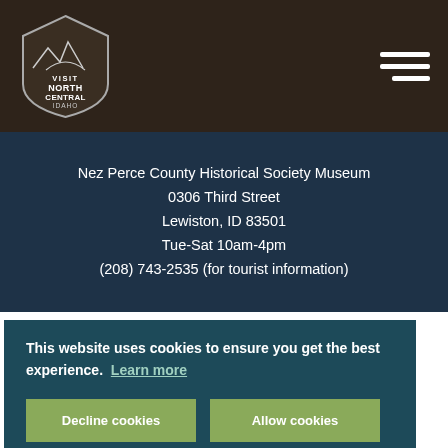Visit North Central Idaho — navigation header with logo and hamburger menu
Nez Perce County Historical Society Museum
0306 Third Street
Lewiston, ID 83501
Tue-Sat 10am-4pm
(208) 743-2535 (for tourist information)
This website uses cookies to ensure you get the best experience. Learn more
Decline cookies
Allow cookies